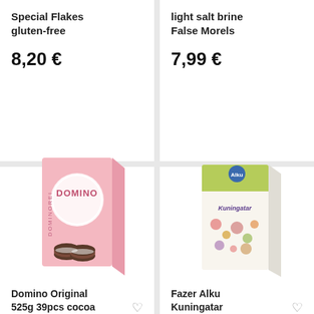Special Flakes gluten-free
8,20 €
light salt brine False Morels
7,99 €
[Figure (photo): Pink Domino Original biscuit box with cocoa cookies shown in front]
Domino Original 525g 39pcs cocoa
[Figure (photo): Fazer Alku Kuningatar cereal box with floral design, white and green packaging]
Fazer Alku Kuningatar